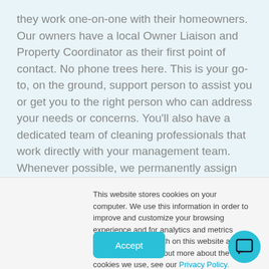they work one-on-one with their homeowners. Our owners have a local Owner Liaison and Property Coordinator as their first point of contact. No phone trees here. This is your go-to, on the ground, support person to assist you or get you to the right person who can address your needs or concerns. You'll also have a dedicated team of cleaning professionals that work directly with your management team. Whenever possible, we permanently assign your cleaner or crew to your property.
In addition to our local rental offices, we have a support
This website stores cookies on your computer. We use this information in order to improve and customize your browsing experience and for analytics and metrics about our visitors both on this website and other media. To find out more about the cookies we use, see our Privacy Policy.